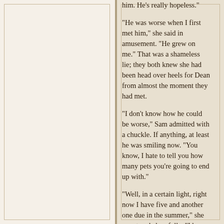him. He's really hopeless."

"He was worse when I first met him," she said in amusement. "He grew on me." That was a shameless lie; they both knew she had been head over heels for Dean from almost the moment they had met.

"I don't know how he could be worse," Sam admitted with a chuckle. If anything, at least he was smiling now. "You know, I hate to tell you how many pets you're going to end up with."

"Well, in a certain light, right now I have five and another one due in the summer," she countered cheerfully. "I have a feeling Bandit is only the beginning. It's ... it's odd, loving a dog